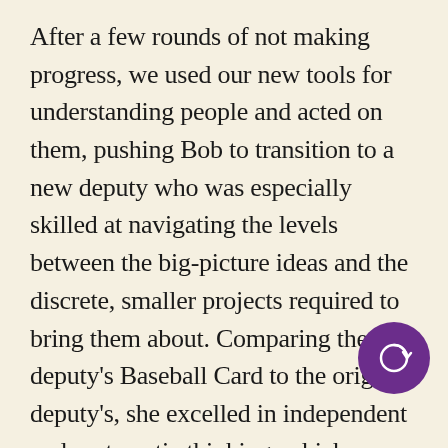After a few rounds of not making progress, we used our new tools for understanding people and acted on them, pushing Bob to transition to a new deputy who was especially skilled at navigating the levels between the big-picture ideas and the discrete, smaller projects required to bring them about. Comparing the new deputy's Baseball Card to the original deputy's, she excelled in independent and systematic thinking, which were essential for having a clear picture of what to do with Bob's big ideas. This new deputy brought on other layers of support, including a project manager who was less engaged with the concepts and much more focused on the details of specific tasks and
[Figure (logo): Purple circle with a circular arrow/refresh icon in white]